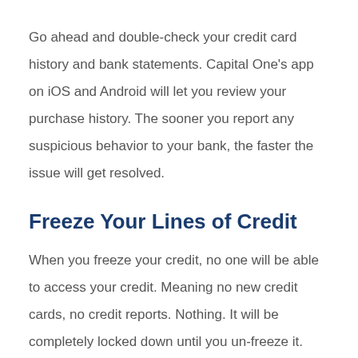Go ahead and double-check your credit card history and bank statements. Capital One's app on iOS and Android will let you review your purchase history. The sooner you report any suspicious behavior to your bank, the faster the issue will get resolved.
Freeze Your Lines of Credit
When you freeze your credit, no one will be able to access your credit. Meaning no new credit cards, no credit reports. Nothing. It will be completely locked down until you un-freeze it. Capital